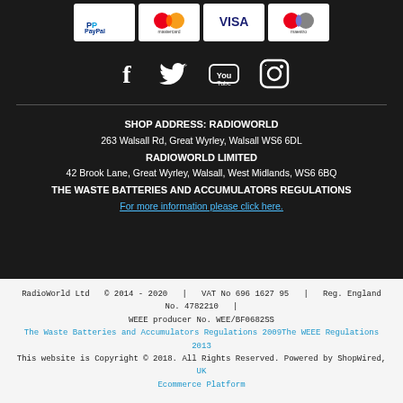[Figure (logo): Payment method logos: PayPal, Mastercard, Visa, Maestro on white background tiles]
[Figure (illustration): Social media icons: Facebook, Twitter, YouTube, Instagram in white on dark background]
SHOP ADDRESS: RADIOWORLD
263 Walsall Rd, Great Wyrley, Walsall WS6 6DL
RADIOWORLD LIMITED
42 Brook Lane, Great Wyrley, Walsall, West Midlands, WS6 6BQ
THE WASTE BATTERIES AND ACCUMULATORS REGULATIONS
For more information please click here.
RadioWorld Ltd   © 2014 - 2020   |   VAT No 696 1627 95   |   Reg. England No. 4782210   |   WEEE producer No. WEE/BF0682SS
The Waste Batteries and Accumulators Regulations 2009The WEEE Regulations 2013
This website is Copyright © 2018. All Rights Reserved. Powered by ShopWired, UK Ecommerce Platform